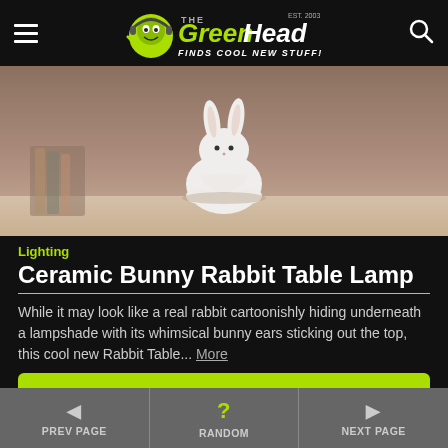The Green Head - Finds Cool New Stuff!
[Figure (photo): Close-up photo of a white ceramic bunny rabbit table lamp sitting on a light-colored surface with blurred background]
Lighting
Ceramic Bunny Rabbit Table Lamp
While it may look like a real rabbit cartoonishly hiding underneath a lampshade with its whimsical bunny ears sticking out the top, this cool new Rabbit Table... More
► WestElm.com
◄ PREV PAGE | ? RANDOM | ► NEXT PAGE